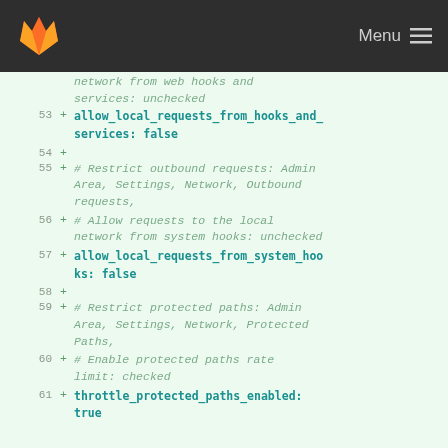Menu
[Figure (screenshot): GitLab logo in navbar]
network from web hooks and services: unchecked
53 + allow_local_requests_from_hooks_and_services: false
54 +
55 + # Restrict outbound requests: Admin Area, Settings, Network, Outbound requests,
56 + # Allow requests to the local network from system hooks: unchecked
57 + allow_local_requests_from_system_hooks: false
58 +
59 + # Restrict protected paths: Admin Area, Settings, Network, Protected Paths,
60 + # Enable protected paths rate limit: checked
61 + throttle_protected_paths_enabled: true